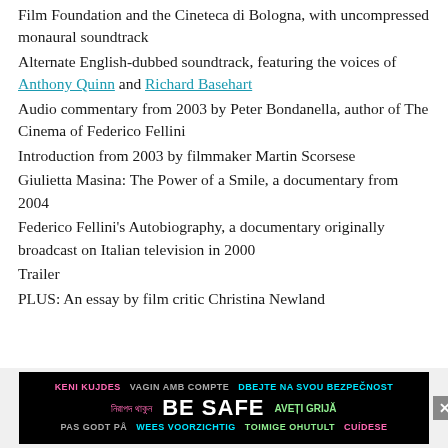Film Foundation and the Cineteca di Bologna, with uncompressed monaural soundtrack
Alternate English-dubbed soundtrack, featuring the voices of Anthony Quinn and Richard Basehart
Audio commentary from 2003 by Peter Bondanella, author of The Cinema of Federico Fellini
Introduction from 2003 by filmmaker Martin Scorsese
Giulietta Masina: The Power of a Smile, a documentary from 2004
Federico Fellini's Autobiography, a documentary originally broadcast on Italian television in 2000
Trailer
PLUS: An essay by film critic Christina Newland
[Figure (infographic): BE SAFE multilingual safety advertisement banner with colorful text in multiple languages on black background with close button]